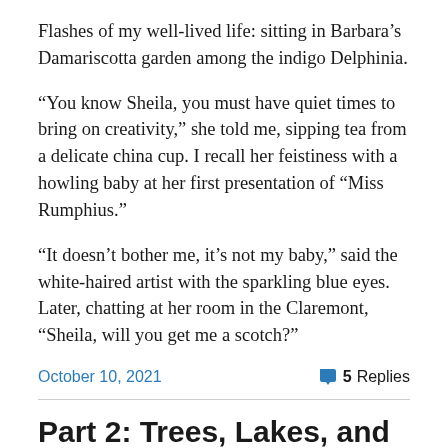Flashes of my well-lived life: sitting in Barbara’s Damariscotta garden among the indigo Delphinia.
“You know Sheila, you must have quiet times to bring on creativity,” she told me, sipping tea from a delicate china cup. I recall her feistiness with a howling baby at her first presentation of “Miss Rumphius.”
“It doesn’t bother me, it’s not my baby,” said the white-haired artist with the sparkling blue eyes. Later, chatting at her room in the Claremont, “Sheila, will you get me a scotch?”
October 10, 2021
5 Replies
Part 2: Trees, Lakes, and